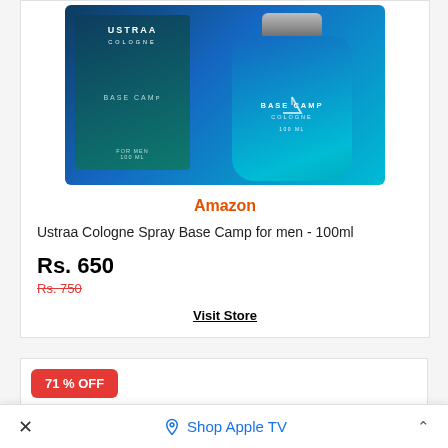[Figure (photo): Ustraa Cologne Spray Base Camp product image showing a blue glass bottle and teal box]
Amazon
Ustraa Cologne Spray Base Camp for men - 100ml
Rs. 650
Rs. 750
Visit Store
71 % OFF
× Shop Apple TV ^